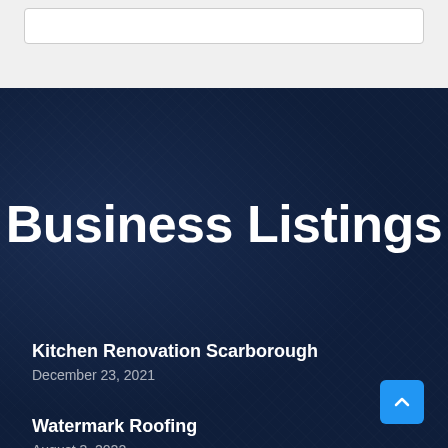[Figure (screenshot): Search bar input field at top of page on light grey background]
Business Listings
Kitchen Renovation Scarborough
December 23, 2021
Watermark Roofing
August 3, 2022
Rapid Towing Milford